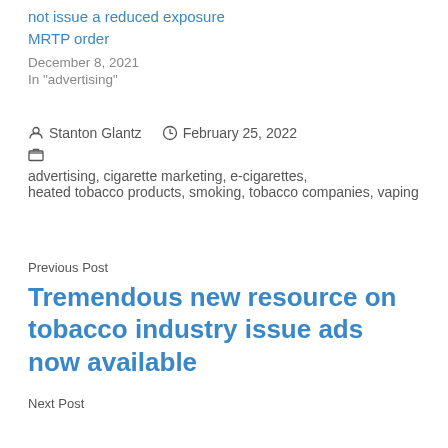not issue a reduced exposure MRTP order
December 8, 2021
In "advertising"
Stanton Glantz  February 25, 2022
advertising, cigarette marketing, e-cigarettes, heated tobacco products, smoking, tobacco companies, vaping
Previous Post
Tremendous new resource on tobacco industry issue ads now available
Next Post